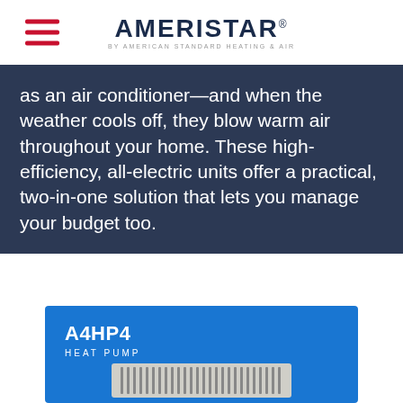AMERISTAR by American Standard Heating & Air
as an air conditioner—and when the weather cools off, they blow warm air throughout your home. These high-efficiency, all-electric units offer a practical, two-in-one solution that lets you manage your budget too.
[Figure (photo): A4HP4 heat pump outdoor unit product card on blue background with image of the unit at bottom]